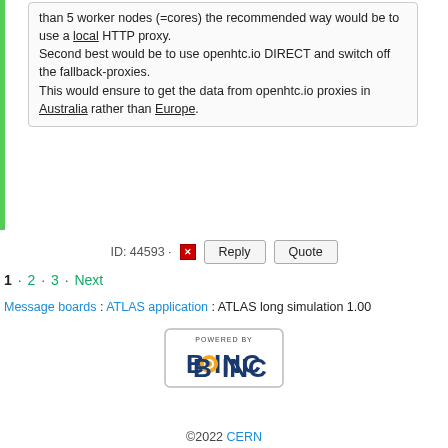than 5 worker nodes (=cores) the recommended way would be to use a local HTTP proxy. Second best would be to use openhtc.io DIRECT and switch off the fallback-proxies. This would ensure to get the data from openhtc.io proxies in Australia rather than Europe.
ID: 44593 · Reply Quote
1 · 2 · 3 · Next
Message boards : ATLAS application : ATLAS long simulation 1.00
[Figure (logo): Powered by BOINC logo]
©2022 CERN